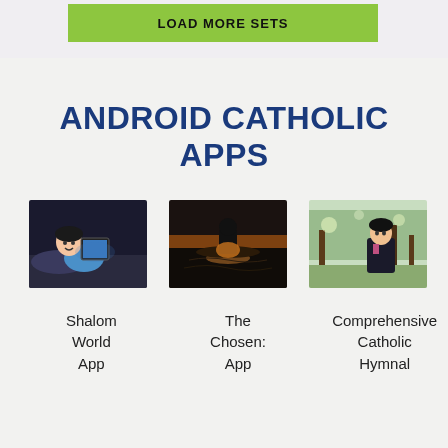[Figure (screenshot): Green button partially visible at top of page with bold uppercase text, and a blue tab on the right side]
ANDROID CATHOLIC APPS
[Figure (photo): Woman lying down smiling at a tablet device in a dark room]
[Figure (photo): Person in a kayak/boat on water at sunset with glowing light reflections]
[Figure (photo): Woman sitting outdoors looking sideways in a park with trees]
Shalom World App
The Chosen: App
Comprehensive Catholic Hymnal